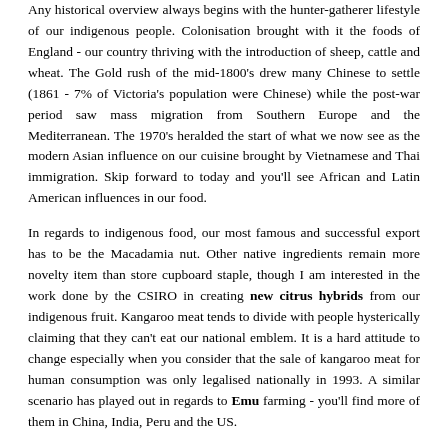Any historical overview always begins with the hunter-gatherer lifestyle of our indigenous people. Colonisation brought with it the foods of England - our country thriving with the introduction of sheep, cattle and wheat. The Gold rush of the mid-1800's drew many Chinese to settle (1861 - 7% of Victoria's population were Chinese) while the post-war period saw mass migration from Southern Europe and the Mediterranean. The 1970's heralded the start of what we now see as the modern Asian influence on our cuisine brought by Vietnamese and Thai immigration. Skip forward to today and you'll see African and Latin American influences in our food.
In regards to indigenous food, our most famous and successful export has to be the Macadamia nut. Other native ingredients remain more novelty item than store cupboard staple, though I am interested in the work done by the CSIRO in creating new citrus hybrids from our indigenous fruit. Kangaroo meat tends to divide with people hysterically claiming that they can't eat our national emblem. It is a hard attitude to change especially when you consider that the sale of kangaroo meat for human consumption was only legalised nationally in 1993. A similar scenario has played out in regards to Emu farming - you'll find more of them in China, India, Peru and the US.
When it comes to recipes that we consider our own, we are safe to claim - lamingtons, damper and Anzac biscuits though Pavlova will start arguments with New Zealanders. Meat Pies are English, but the Pi...